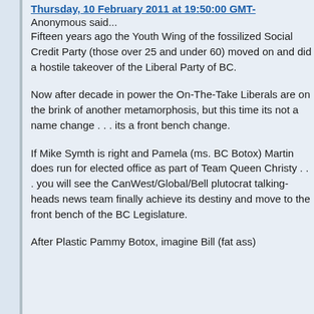Thursday, 10 February 2011 at 19:50:00 GMT-
Anonymous said...
Fifteen years ago the Youth Wing of the fossilized Social Credit Party (those over 25 and under 60) moved on and did a hostile takeover of the Liberal Party of BC.
Now after decade in power the On-The-Take Liberals are on the brink of another metamorphosis, but this time its not a name change . . . its a front bench change.
If Mike Symth is right and Pamela (ms. BC Botox) Martin does run for elected office as part of Team Queen Christy . . . you will see the CanWest/Global/Bell plutocrat talking-heads news team finally achieve its destiny and move to the front bench of the BC Legislature.
After Plastic Pammy Botox, imagine Bill (fat ass)